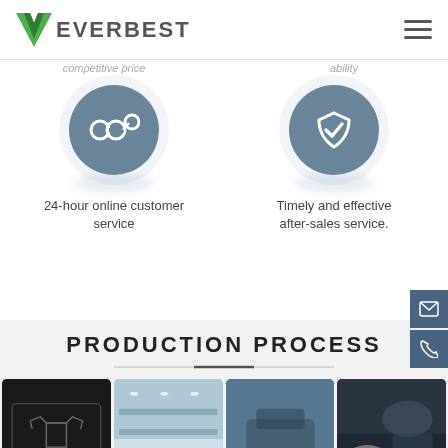EVERBEST
competitive price
ability
[Figure (illustration): Blue-gray circle icon with linked nodes/chain symbol representing 24-hour online customer service]
24-hour online customer service
[Figure (illustration): Blue-gray circle icon with shield and checkmark representing timely and effective after-sales service]
Timely and effective after-sales service.
PRODUCTION PROCESS
[Figure (photo): Factory CAD pattern cutting machine on dark background]
[Figure (photo): Large fabric warehouse with rolls of material and workers]
[Figure (photo): Close-up of industrial sewing machine stitching blue fabric]
[Figure (photo): Worker handling dark navy fabric on a sewing machine]